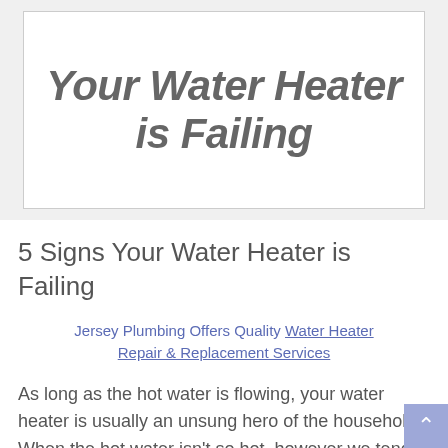[Figure (illustration): White box on light gray background with bold italic text reading 'Your Water Heater is Failing']
5 Signs Your Water Heater is Failing
Jersey Plumbing Offers Quality Water Heater Repair & Replacement Services
As long as the hot water is flowing, your water heater is usually an unsung hero of the household. When the hot water isn't so hot, however we tend to remember why we love our water heaters so much. If you've been neglecting your relationship with your